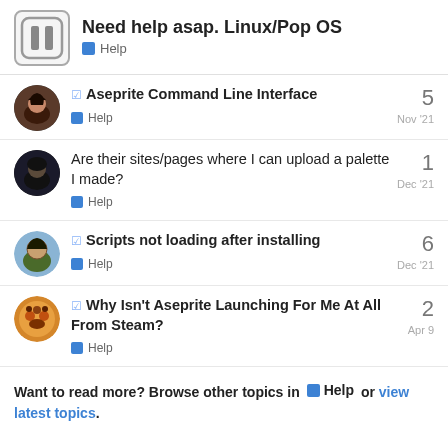Need help asap. Linux/Pop OS
Aseprite Command Line Interface — Help — Nov '21 — 5 replies
Are their sites/pages where I can upload a palette I made? — Help — Dec '21 — 1 reply
Scripts not loading after installing — Help — Dec '21 — 6 replies
Why Isn't Aseprite Launching For Me At All From Steam? — Help — Apr 9 — 2 replies
Want to read more? Browse other topics in Help or view latest topics.